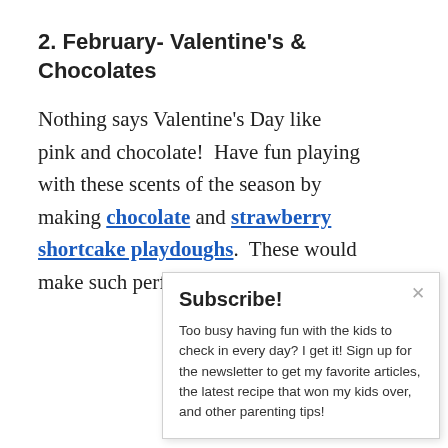2. February- Valentine's & Chocolates
Nothing says Valentine's Day like pink and chocolate!  Have fun playing with these scents of the season by making chocolate and strawberry shortcake playdoughs.  These would make such perfect Va
Subscribe!
Too busy having fun with the kids to check in every day? I get it! Sign up for the newsletter to get my favorite articles, the latest recipe that won my kids over, and other parenting tips!